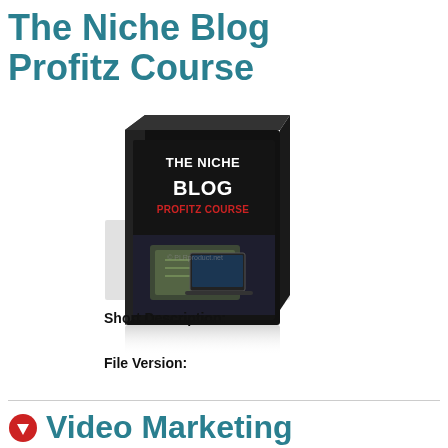The Niche Blog Profitz Course
[Figure (illustration): 3D DVD/book box product image showing 'THE NICHE BLOG PROFITZ COURSE' text with money imagery on dark background, with reflection below]
Short Description:
File Version:
Video Marketing